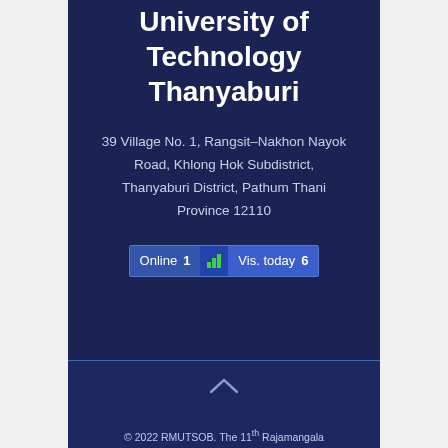University of Technology Thanyaburi
39 Village No. 1, Rangsit–Nakhon Nayok Road, Khlong Hok Subdistrict, Thanyaburi District, Pathum Thani Province 12110
Online 1 | Vis. today 6
© 2022 RMUTSOB. The 11th Rajamangala